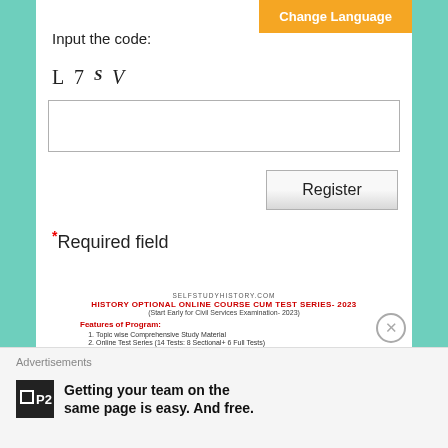Change Language
Input the code:
[Figure (other): CAPTCHA image showing characters: L 7 S V in mixed serif/italic styles]
[Figure (other): Text input box for captcha code entry]
[Figure (other): Register button]
* Required field
[Figure (screenshot): Advertisement for selfstudyhistory.com History Optional Online Course cum Test Series-2023 (Start Early for Civil Services Examination-2023). Features of Program: 1. Topic wise Comprehensive Study Material 2. Online Test Series (14 Tests: 8 Sectional+ 6 Full Tests)]
Advertisements
[Figure (other): P2 advertisement: Getting your team on the same page is easy. And free.]